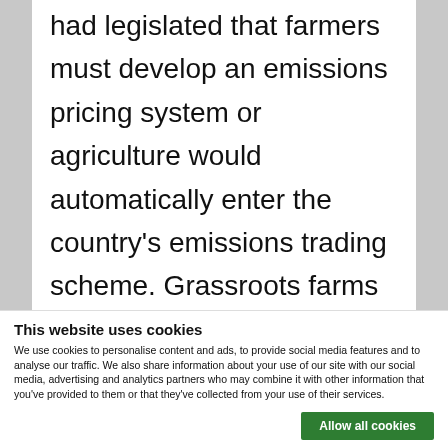had legislated that farmers must develop an emissions pricing system or agriculture would automatically enter the country's emissions trading scheme. Grassroots farms have been protesting in recent years against the introduction of environmental regulations, but agriculture currently
This website uses cookies
We use cookies to personalise content and ads, to provide social media features and to analyse our traffic. We also share information about your use of our site with our social media, advertising and analytics partners who may combine it with other information that you've provided to them or that they've collected from your use of their services.